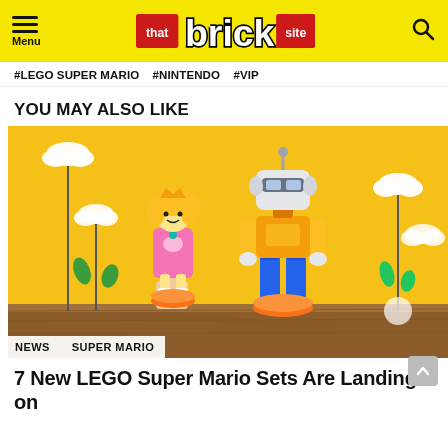Menu | that brick site logo | Search
#LEGO SUPER MARIO #NINTENDO #VIP
YOU MAY ALSO LIKE
[Figure (photo): LEGO Super Mario Princess Peach and a tall robot/character LEGO figure on a wooden table with yellow background, flowers and clouds made of LEGO bricks, hand holding the Princess Peach figure]
NEWS  SUPER MARIO
7 New LEGO Super Mario Sets Are Landing on